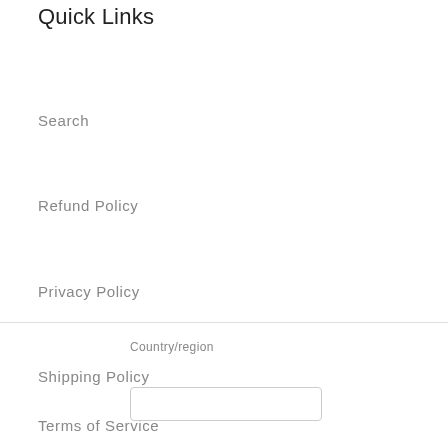Quick Links
Search
Refund Policy
Privacy Policy
Shipping Policy
Terms of Service
Country/region
[Figure (screenshot): Chat popup widget with dark background reading 'Questions? We can help. Chat with us now.' and a blue speech bubble icon on the right.]